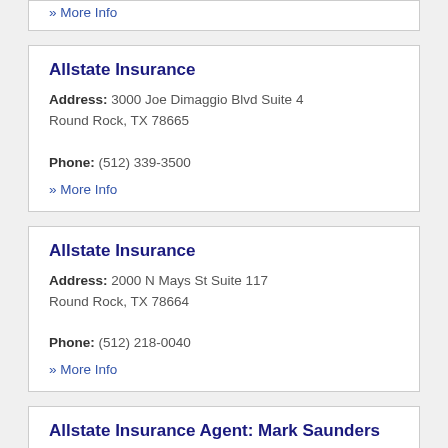» More Info
Allstate Insurance
Address: 3000 Joe Dimaggio Blvd Suite 4 Round Rock, TX 78665
Phone: (512) 339-3500
» More Info
Allstate Insurance
Address: 2000 N Mays St Suite 117 Round Rock, TX 78664
Phone: (512) 218-0040
» More Info
Allstate Insurance Agent: Mark Saunders